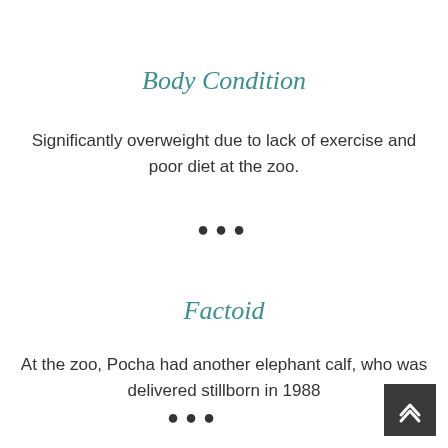Body Condition
Significantly overweight due to lack of exercise and poor diet at the zoo.
•••
Factoid
At the zoo, Pocha had another elephant calf, who was delivered stillborn in 1988
•••